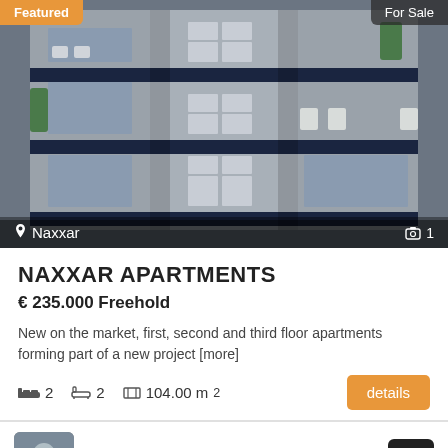[Figure (photo): Modern apartment building exterior, multi-storey with large windows and balconies, grey facade with navy/dark blue horizontal accent bands, plants visible on balconies]
Featured
For Sale
Naxxar
1
NAXXAR APARTMENTS
€ 235.000 Freehold
New on the market, first, second and third floor apartments forming part of a new project [more]
2  2  104.00 m²
details
Joseph Zammit